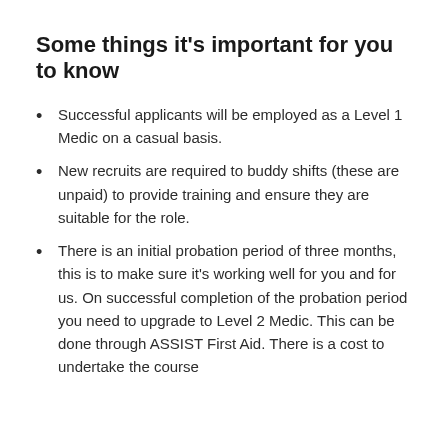Some things it's important for you to know
Successful applicants will be employed as a Level 1 Medic on a casual basis.
New recruits are required to buddy shifts (these are unpaid) to provide training and ensure they are suitable for the role.
There is an initial probation period of three months, this is to make sure it's working well for you and for us. On successful completion of the probation period you need to upgrade to Level 2 Medic. This can be done through ASSIST First Aid. There is a cost to undertake the course